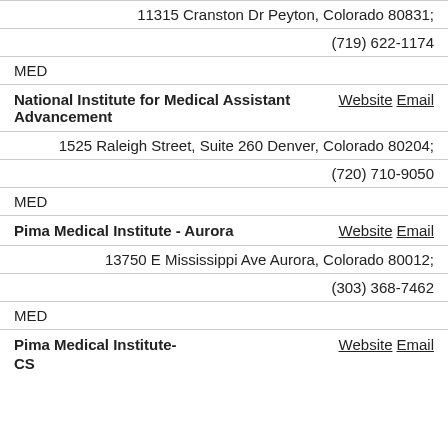11315 Cranston Dr Peyton, Colorado 80831;
(719) 622-1174
MED
National Institute for Medical Assistant Advancement   Website Email
1525 Raleigh Street, Suite 260 Denver, Colorado 80204;
(720) 710-9050
MED
Pima Medical Institute - Aurora   Website Email
13750 E Mississippi Ave Aurora, Colorado 80012;
(303) 368-7462
MED
Pima Medical Institute- CS   Website Email